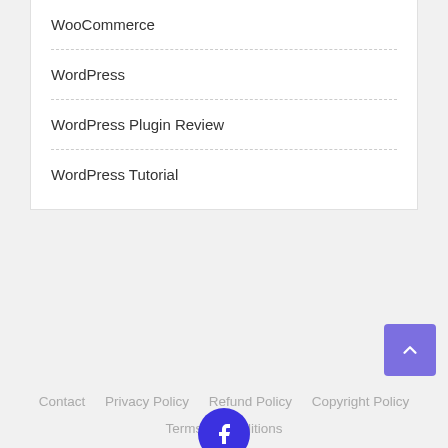WooCommerce
WordPress
WordPress Plugin Review
WordPress Tutorial
Contact  Privacy Policy  Refund Policy  Copyright Policy  Terms & Conditions